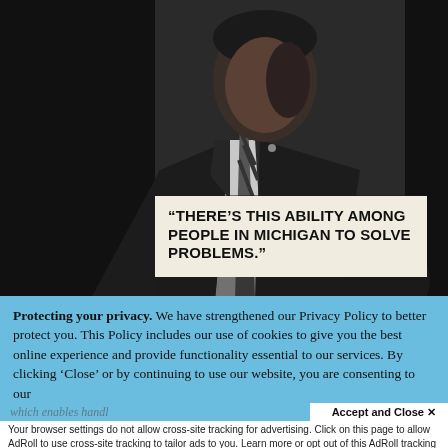[Figure (photo): Black and white photo of a man in a dark suit and striped tie, shot from chest level upward, partially cropped]
“THERE’S THIS ABILITY AMONG PEOPLE IN MICHIGAN TO SOLVE PROBLEMS.”
Protecting your privacy. We have strengthened our Privacy Policy to better protect you. This Policy includes our use of cookies to give you the best online experience and provide functionality essential to our services. By clicking ‘Close’ or by continuing to use our website, you are consenting to our
Accept and Close ×
which enables handl
Your browser settings do not allow cross-site tracking for advertising. Click on this page to allow AdRoll to use cross-site tracking to tailor ads to you. Learn more or opt out of this AdRoll tracking by clicking here. This message only appears once.